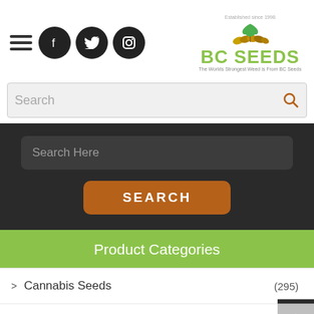[Figure (logo): BC Seeds logo with cannabis leaf and seeds image, text 'BC SEEDS' in green, tagline 'The Worlds Strongest Weed is From BC Seeds', 'Established since 1998']
[Figure (screenshot): Navigation icons: hamburger menu, Facebook, Twitter, Instagram social icons (black circles)]
Search
Search Here
SEARCH
Product Categories
Cannabis Seeds (295)
Cane Seeds (7)